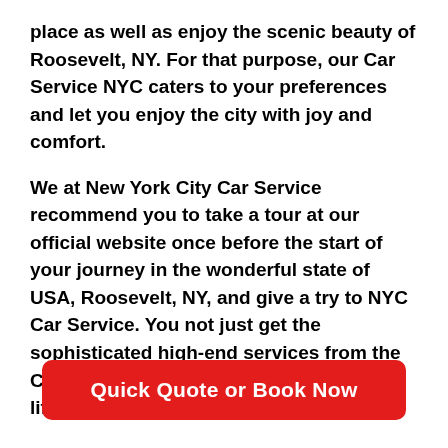place as well as enjoy the scenic beauty of Roosevelt, NY. For that purpose, our Car Service NYC caters to your preferences and let you enjoy the city with joy and comfort.
We at New York City Car Service recommend you to take a tour at our official website once before the start of your journey in the wonderful state of USA, Roosevelt, NY, and give a try to NYC Car Service. You not just get the sophisticated high-end services from the Car Service New York, but also the best lifetime experience.
Quick Quote or Book Now